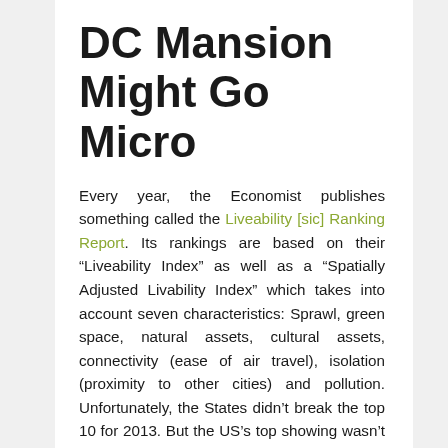DC Mansion Might Go Micro
Every year, the Economist publishes something called the Liveability [sic] Ranking Report. Its rankings are based on their “Liveability Index” as well as a “Spatially Adjusted Livability Index” which takes into account seven characteristics: Sprawl, green space, natural assets, cultural assets, connectivity (ease of air travel), isolation (proximity to other cities) and pollution. Unfortunately, the States didn’t break the top 10 for 2013. But the US’s top showing wasn’t the city this author expected. It wasn’t Portland, Seattle or San Diego. Coming in at #14 of the 140 global cities